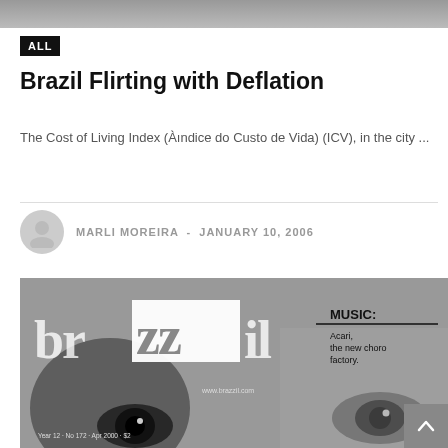[Figure (photo): Top cropped photo strip, dark/grayscale image partially visible]
ALL
Brazil Flirting with Deflation
The Cost of Living Index (Àındice do Custo de Vida) (ICV), in the city ...
MARLI MOREIRA - JANUARY 10, 2006
[Figure (photo): Brazzil magazine cover in black and white, showing close-up eyes, large stylized 'brazzil' logo with white ZZ block letters, and sidebar text: MUSIC: Acari, the new choro factory. Bottom text: Year 12 · No 172 · Apr 2000 · $2. URL: www.brazzil.com]